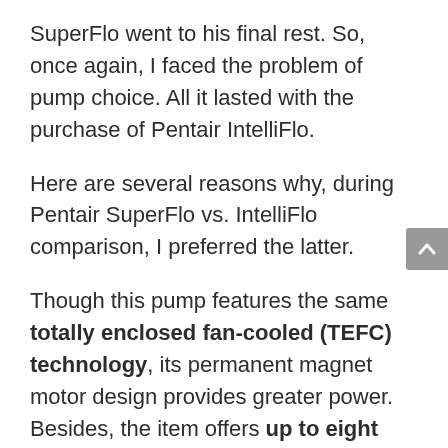SuperFlo went to his final rest. So, once again, I faced the problem of pump choice. All it lasted with the purchase of Pentair IntelliFlo.
Here are several reasons why, during Pentair SuperFlo vs. IntelliFlo comparison, I preferred the latter.
Though this pump features the same totally enclosed fan-cooled (TEFC) technology, its permanent magnet motor design provides greater power. Besides, the item offers up to eight speeds. 3 HP and 8 speed settings allow me to install additional pool elements like waterfalls, heating, spa, etc.